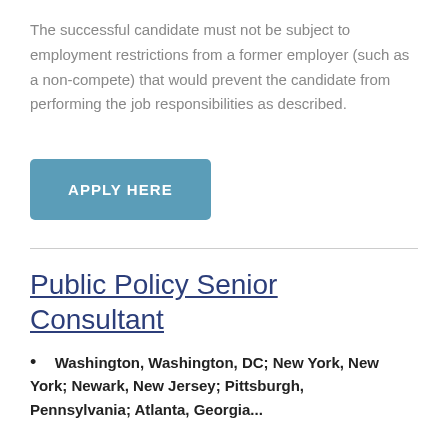The successful candidate must not be subject to employment restrictions from a former employer (such as a non-compete) that would prevent the candidate from performing the job responsibilities as described.
[Figure (other): Blue button labeled APPLY HERE]
Public Policy Senior Consultant
Washington, Washington, DC; New York, New York; Newark, New Jersey; Pittsburgh, Pennsylvania; Atlanta, Georgia...